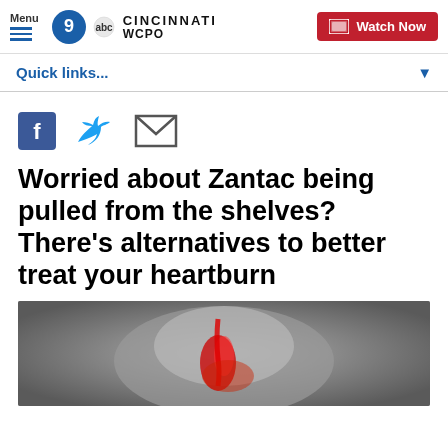Menu | WCPO 9 ABC CINCINNATI | Watch Now
Quick links...
[Figure (screenshot): Social sharing icons: Facebook (f), Twitter bird, Email envelope]
Worried about Zantac being pulled from the shelves? There's alternatives to better treat your heartburn
[Figure (photo): Medical illustration showing human torso with esophagus and stomach highlighted in red, depicting heartburn/acid reflux]